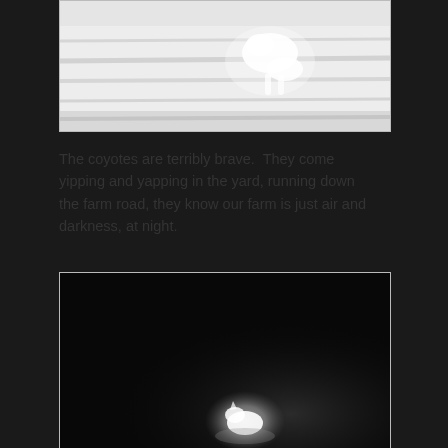[Figure (photo): Infrared or overexposed black-and-white trail camera photo showing a blurry white animal (likely a coyote) on what appears to be a farm road or field, very bright/washed out image]
The coyotes are terribly brave.  They come yipping and yapping in the yard, running down the farm road, they know our farm is just air and darkness, at night.
[Figure (photo): Night-vision trail camera photo showing a mostly black scene with a faintly glowing white animal (likely a coyote) visible in the lower center of the frame against a very dark background]